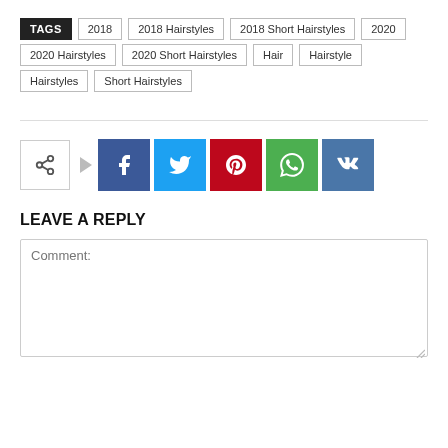TAGS: 2018, 2018 Hairstyles, 2018 Short Hairstyles, 2020, 2020 Hairstyles, 2020 Short Hairstyles, Hair, Hairstyle, Hairstyles, Short Hairstyles
[Figure (infographic): Row of social share buttons: share icon, arrow, Facebook, Twitter, Pinterest, WhatsApp, VK]
LEAVE A REPLY
Comment: